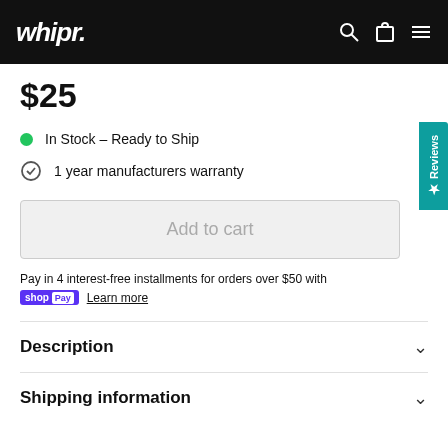whipr.
$25
In Stock – Ready to Ship
1 year manufacturers warranty
Add to cart
Pay in 4 interest-free installments for orders over $50 with shop Pay Learn more
Description
Shipping information